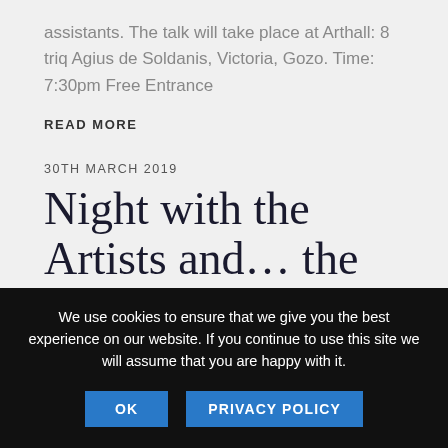assistants. The talk will take place at Arthall: 8 triq Agius de Soldanis, Victoria, Gozo. Time: 7:30pm Free Entrance
READ MORE
30TH MARCH 2019
Night with the Artists and… the Model, Lucy Jade, form the UK
We use cookies to ensure that we give you the best experience on our website. If you continue to use this site we will assume that you are happy with it.